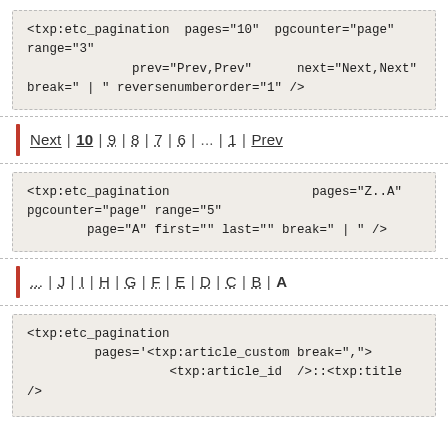<txp:etc_pagination  pages="10"  pgcounter="page"
range="3"
               prev="Prev,Prev"      next="Next,Next"
break=" | " reversenumberorder="1" />
Next | 10 | 9 | 8 | 7 | 6 | ... | 1 | Prev
<txp:etc_pagination                    pages="Z..A"
pgcounter="page" range="5"
         page="A" first="" last="" break=" | " />
... | J | I | H | G | F | E | D | C | B | A
<txp:etc_pagination
          pages='<txp:article_custom break=",">
                    <txp:article_id  />::<txp:title
/>